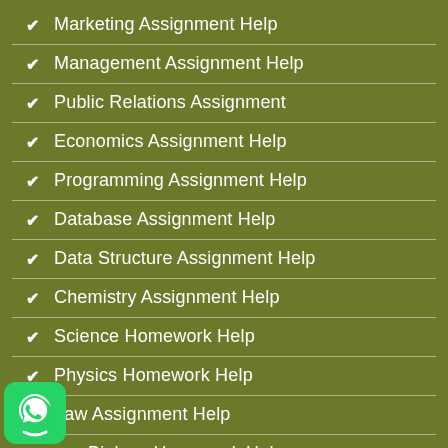Marketing Assignment Help
Management Assignment Help
Public Relations Assignment
Economics Assignment Help
Programming Assignment Help
Database Assignment Help
Data Structure Assignment Help
Chemistry Assignment Help
Science Homework Help
Physics Homework Help
Law Assignment Help
Biology Homework Help
Computer Science Homework Help